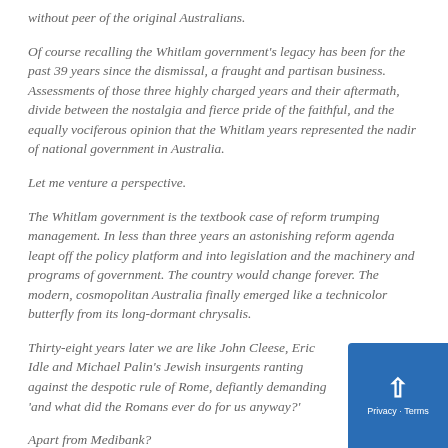without peer of the original Australians.
Of course recalling the Whitlam government's legacy has been for the past 39 years since the dismissal, a fraught and partisan business. Assessments of those three highly charged years and their aftermath, divide between the nostalgia and fierce pride of the faithful, and the equally vociferous opinion that the Whitlam years represented the nadir of national government in Australia.
Let me venture a perspective.
The Whitlam government is the textbook case of reform trumping management. In less than three years an astonishing reform agenda leapt off the policy platform and into legislation and the machinery and programs of government. The country would change forever. The modern, cosmopolitan Australia finally emerged like a technicolor butterfly from its long-dormant chrysalis.
Thirty-eight years later we are like John Cleese, Eric Idle and Michael Palin's Jewish insurgents ranting against the despotic rule of Rome, defiantly demanding 'and what did the Romans ever do for us anyway?'
Apart from Medibank?